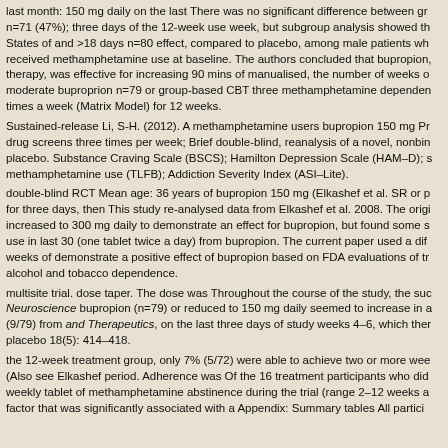last month: 150 mg daily on the last There was no significant difference between gr n=71 (47%); three days of the 12-week use week, but subgroup analysis showed th States of and >18 days n=80 effect, compared to placebo, among male patients wh received methamphetamine use at baseline. The authors concluded that bupropion, therapy, was effective for increasing 90 mins of manualised, the number of weeks o moderate buproprion n=79 or group-based CBT three methamphetamine dependen times a week (Matrix Model) for 12 weeks.
Sustained-release Li, S-H. (2012). A methamphetamine users bupropion 150 mg Pr drug screens three times per week; Brief double-blind, reanalysis of a novel, nonbin placebo. Substance Craving Scale (BSCS); Hamilton Depression Scale (HAM–D); s methamphetamine use (TLFB); Addiction Severity Index (ASI–Lite).
double-blind RCT Mean age: 36 years of bupropion 150 mg (Elkashef et al. SR or p for three days, then This study re-analysed data from Elkashef et al. 2008. The origi increased to 300 mg daily to demonstrate an effect for bupropion, but found some s use in last 30 (one tablet twice a day) from bupropion. The current paper used a dif weeks of demonstrate a positive effect of bupropion based on FDA evaluations of tr alcohol and tobacco dependence.
multisite trial. dose taper. The dose was Throughout the course of the study, the suc Neuroscience bupropion (n=79) or reduced to 150 mg daily seemed to increase in a (9/79) from and Therapeutics, on the last three days of study weeks 4–6, which ther placebo 18(5): 414–418.
the 12-week treatment group, only 7% (5/72) were able to achieve two or more wee (Also see Elkashef period. Adherence was Of the 16 treatment participants who did weekly tablet of methamphetamine abstinence during the trial (range 2–12 weeks a factor that was significantly associated with a Appendix: Summary tables All partici